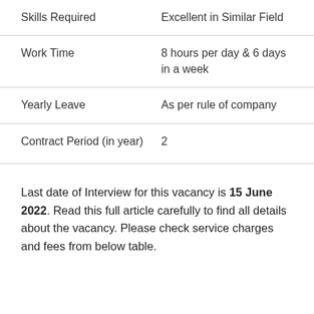| Field | Value |
| --- | --- |
| Skills Required | Excellent in Similar Field |
| Work Time | 8 hours per day & 6 days in a week |
| Yearly Leave | As per rule of company |
| Contract Period (in year) | 2 |
Last date of Interview for this vacancy is 15 June 2022. Read this full article carefully to find all details about the vacancy. Please check service charges and fees from below table.